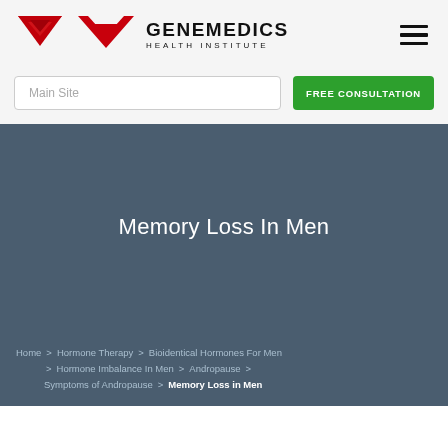[Figure (logo): Genemedics Health Institute logo with red stylized G chevron icon and bold black text]
GENEMEDICS HEALTH INSTITUTE
Main Site
FREE CONSULTATION
Memory Loss In Men
Home > Hormone Therapy > Bioidentical Hormones For Men > Hormone Imbalance In Men > Andropause > Symptoms of Andropause > Memory Loss in Men